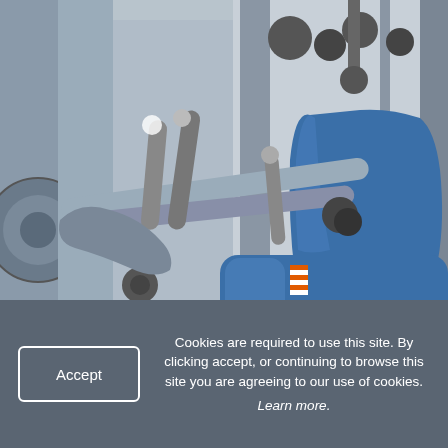[Figure (photo): Close-up photograph of gym exercise equipment showing blue padded seat and backrest with grey metal bars and handles of a weight/resistance machine in a fitness center.]
Cookies are required to use this site. By clicking accept, or continuing to browse this site you are agreeing to our use of cookies. Learn more.